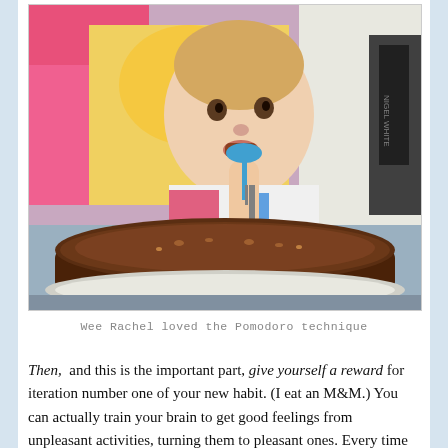[Figure (photo): A baby/toddler sitting in a highchair, holding a blue spoon, eating from a large chocolate cake. The child is wearing a colorful patterned outfit. The scene is photographed indoors.]
Wee Rachel loved the Pomodoro technique
Then,  and this is the important part, give yourself a reward for iteration number one of your new habit. (I eat an M&M.) You can actually train your brain to get good feelings from unpleasant activities, turning them to pleasant ones. Every time you follow through on your plan, you get a treat, and soon the new plan is the automatic one, and you no longer need the